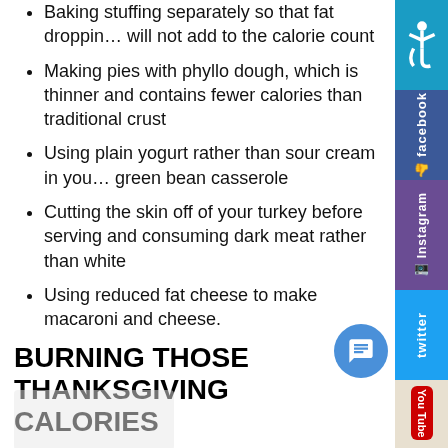Baking stuffing separately so that fat droppings will not add to the calorie count
Making pies with phyllo dough, which is thinner and contains fewer calories than traditional crust
Using plain yogurt rather than sour cream in your green bean casserole
Cutting the skin off of your turkey before serving and consuming dark meat rather than white
Using reduced fat cheese to make macaroni and cheese.
BURNING THOSE THANKSGIVING CALORIES
There’s more you can do besides just modifying your favorite recipes. Here are a few ideas:
Go on a brisk walk after a big meal. Better yet,